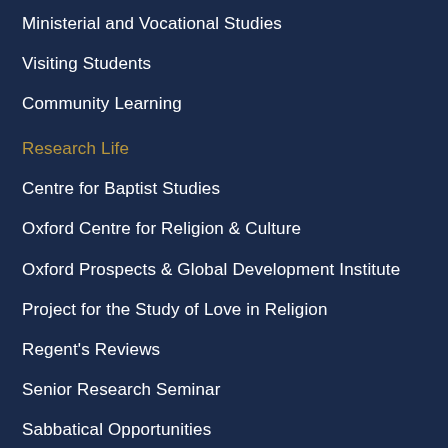Ministerial and Vocational Studies
Visiting Students
Community Learning
Research Life
Centre for Baptist Studies
Oxford Centre for Religion & Culture
Oxford Prospects & Global Development Institute
Project for the Study of Love in Religion
Regent's Reviews
Senior Research Seminar
Sabbatical Opportunities
Alumni & Friends